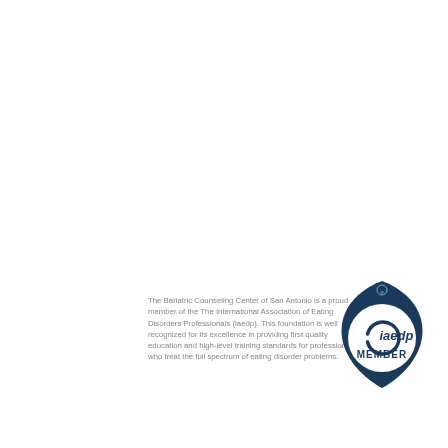The Bariatric Counseling Center of San Antonio is a proud member of the The International Association of Eating Disorders Professionals (iaedp). This foundation is well recognized for its excellence in providing first quality education and high-level training standards for professionals who treat the full spectrum of eating disorder problems.
[Figure (logo): iaedp MEMBER badge — a dark navy teardrop/shield shape with a circular white emblem inside showing a stylized 'c' arc logo and the text 'iaedp.' in dark blue, with 'MEMBER' in bold dark blue text below it]